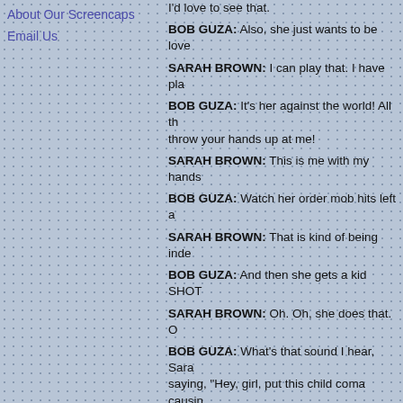About Our Screencaps
Email Us
I'd love to see that.
BOB GUZA: Also, she just wants to be love...
SARAH BROWN: I can play that. I have pla...
BOB GUZA: It's her against the world! All th... throw your hands up at me!
SARAH BROWN: This is me with my hands...
BOB GUZA: Watch her order mob hits left a...
SARAH BROWN: That is kind of being inde...
BOB GUZA: And then she gets a kid SHOT...
SARAH BROWN: Oh. Oh, she does that. O...
BOB GUZA: What's that sound I hear, Sara... saying, "Hey, girl, put this child coma causin... what?
SARAH BROWN: ...I don't think people still...
BOB GUZA: But Claudia feels bad about Mi... it, Sarah! She cries!
SARAH BROWN: Tears! I can do tears! So...